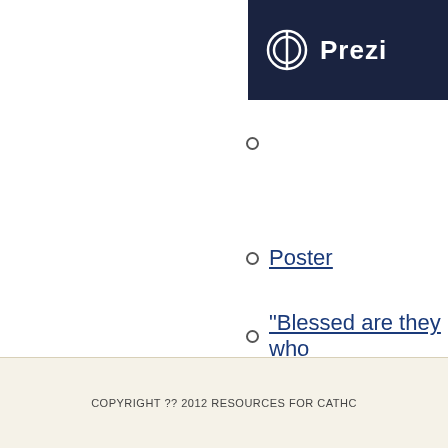[Figure (screenshot): Prezi logo banner — dark navy background with Prezi circular icon and 'Prezi' text in white]
Prezi (image/link)
Poster
"Blessed are they who
Poster
COPYRIGHT ?? 2012 RESOURCES FOR CATHC